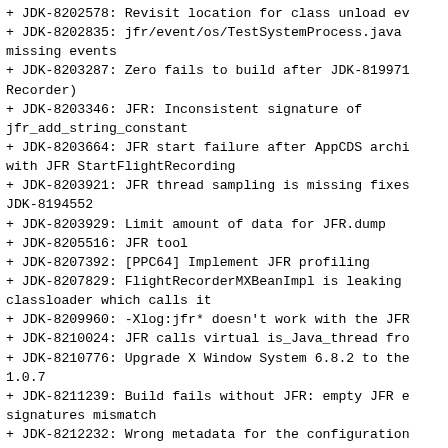+ JDK-8202578: Revisit location for class unload ev
+ JDK-8202835: jfr/event/os/TestSystemProcess.java missing events
+ JDK-8203287: Zero fails to build after JDK-819971 Recorder)
+ JDK-8203346: JFR: Inconsistent signature of jfr_add_string_constant
+ JDK-8203664: JFR start failure after AppCDS archi with JFR StartFlightRecording
+ JDK-8203921: JFR thread sampling is missing fixes JDK-8194552
+ JDK-8203929: Limit amount of data for JFR.dump
+ JDK-8205516: JFR tool
+ JDK-8207392: [PPC64] Implement JFR profiling
+ JDK-8207829: FlightRecorderMXBeanImpl is leaking classloader which calls it
+ JDK-8209960: -Xlog:jfr* doesn't work with the JFR
+ JDK-8210024: JFR calls virtual is_Java_thread fro
+ JDK-8210776: Upgrade X Window System 6.8.2 to the 1.0.7
+ JDK-8211239: Build fails without JFR: empty JFR e signatures mismatch
+ JDK-8212232: Wrong metadata for the configuration cutoff for old object sample events
+ JDK-8213015: Inconsistent settings between JFR.co - XX:FlightRecorderOptions
+ JDK-8213421: Line number information for executio always 0
+ JDK-8213617: JFR should record the PID of the rec
+ JDK-8213734: SAXParser.parse(File, ..) does not G